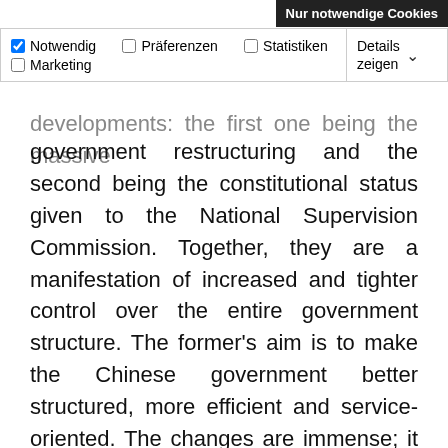Nur notwendige Cookies
Notwendig  Präferenzen  Statistiken  Marketing  Details zeigen
developments: the first one being the massive government restructuring and the second being the constitutional status given to the National Supervision Commission. Together, they are a manifestation of increased and tighter control over the entire government structure. The former's aim is to make the Chinese government better structured, more efficient and service-oriented. The changes are immense; it is safe to say that governance will actually become more inefficient before it gets better as local departments get used to the new structure. The latter's aim is to expand anti-corruption jurisdiction beyond party officials. In this sense, one could speak of a significant erosion between party and state.